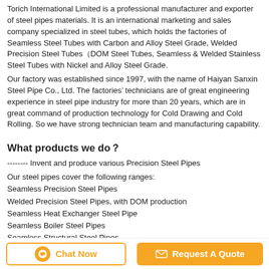Torich International Limited is a professional manufacturer and exporter of steel pipes materials. It is an international marketing and sales company specialized in steel tubes, which holds the factories of Seamless Steel Tubes with Carbon and Alloy Steel Grade, Welded Precision Steel Tubes（DOM Steel Tubes, Seamless & Welded Stainless Steel Tubes with Nickel and Alloy Steel Grade.
Our factory was established since 1997, with the name of Haiyan Sanxin Steel Pipe Co., Ltd. The factories’ technicians are of great engineering experience in steel pipe industry for more than 20 years, which are in great command of production technology for Cold Drawing and Cold Rolling. So we have strong technician team and manufacturing capability.
What products we do？
-------- Invent and produce various Precision Steel Pipes
Our steel pipes cover the following ranges:
Seamless Precision Steel Pipes
Welded Precision Steel Pipes, with DOM production
Seamless Heat Exchanger Steel Pipe
Seamless Boiler Steel Pipes
Seamless Structural Steel Pipes
Seamless Mechanical Steel Pipes
Seamless Alloy Steel Tubes & Pipes
Seamless Stainless Steel tubes
Welded Stainless Steel Tubes
Seamless Stainless Steel Tubes & Pipes
Welded Stainless Steel Tubes & Pipes
Chat Now | Request A Quote